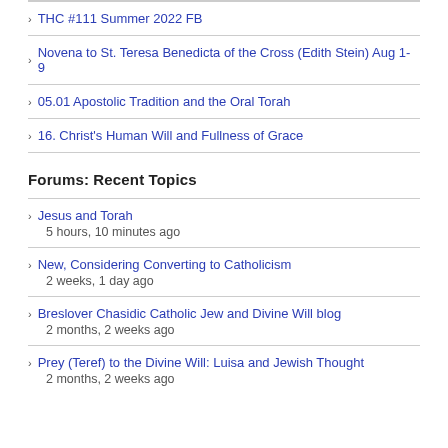THC #111 Summer 2022 FB
Novena to St. Teresa Benedicta of the Cross (Edith Stein) Aug 1- 9
05.01 Apostolic Tradition and the Oral Torah
16. Christ's Human Will and Fullness of Grace
Forums: Recent Topics
Jesus and Torah
5 hours, 10 minutes ago
New, Considering Converting to Catholicism
2 weeks, 1 day ago
Breslover Chasidic Catholic Jew and Divine Will blog
2 months, 2 weeks ago
Prey (Teref) to the Divine Will: Luisa and Jewish Thought
2 months, 2 weeks ago